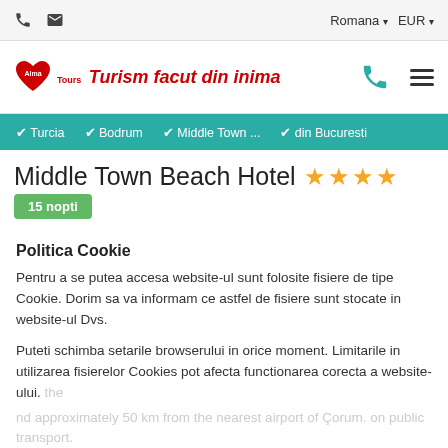Romana EUR
[Figure (logo): Alma Tours logo with heart and slogan 'Turism facut din inima']
✔ Turcia ✔ Bodrum ✔ Middle Town ... ✔ din Bucuresti
Middle Town Beach Hotel ★★★★
Politica Cookie
Pentru a se putea accesa website-ul sunt folosite fisiere de tipe Cookie. Dorim sa va informam ce astfel de fisiere sunt stocate in website-ul Dvs.
Puteti schimba setarile browserului in orice moment. Limitarile in utilizarea fisierelor Cookies pot afecta functionarea corecta a website-ului.
Sunt de acord  Dissallow cookies